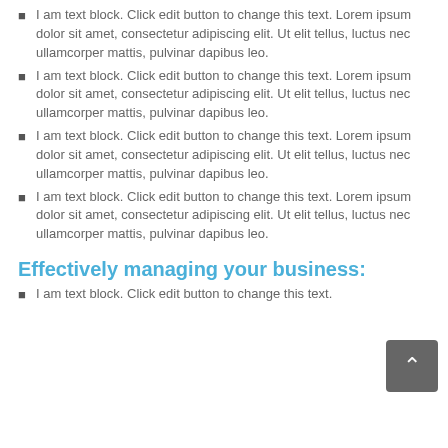I am text block. Click edit button to change this text. Lorem ipsum dolor sit amet, consectetur adipiscing elit. Ut elit tellus, luctus nec ullamcorper mattis, pulvinar dapibus leo.
I am text block. Click edit button to change this text. Lorem ipsum dolor sit amet, consectetur adipiscing elit. Ut elit tellus, luctus nec ullamcorper mattis, pulvinar dapibus leo.
I am text block. Click edit button to change this text. Lorem ipsum dolor sit amet, consectetur adipiscing elit. Ut elit tellus, luctus nec ullamcorper mattis, pulvinar dapibus leo.
I am text block. Click edit button to change this text. Lorem ipsum dolor sit amet, consectetur adipiscing elit. Ut elit tellus, luctus nec ullamcorper mattis, pulvinar dapibus leo.
Effectively managing your business:
I am text block. Click edit button to change this text.